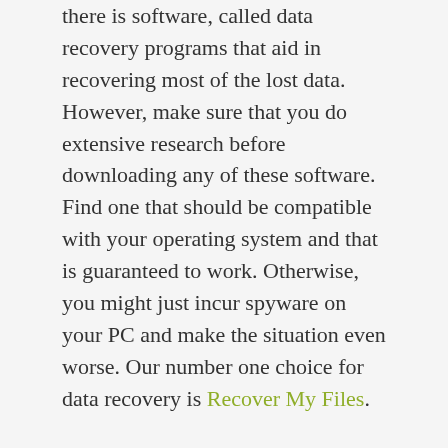there is software, called data recovery programs that aid in recovering most of the lost data. However, make sure that you do extensive research before downloading any of these software. Find one that should be compatible with your operating system and that is guaranteed to work. Otherwise, you might just incur spyware on your PC and make the situation even worse. Our number one choice for data recovery is Recover My Files.
Data recovery software should do the job for you. That will in fact save you a lot of money, because you would not need the services of a computer technician anymore. It might sound like a complicated process, but believe me it is quite easy, you can easily recover lost data using a data recovery software. It is just like installing any other